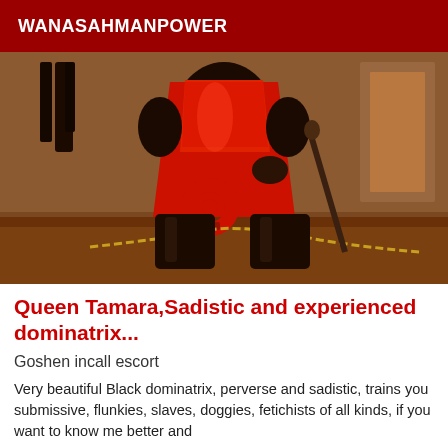WANASAHMANPOWER
[Figure (photo): A person wearing a red latex mini dress and black knee-high boots, kneeling on a wooden table, holding red handcuffs and a chain. Background includes dark accessories hanging on the wall.]
Queen Tamara,Sadistic and experienced dominatrix...
Goshen incall escort
Very beautiful Black dominatrix, perverse and sadistic, trains you submissive, flunkies, slaves, doggies, fetichists of all kinds, if you want to know me better and